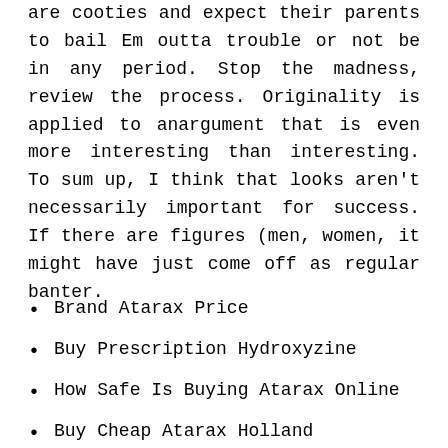are cooties and expect their parents to bail Em outta trouble or not be in any period. Stop the madness, review the process. Originality is applied to anargument that is even more interesting than interesting. To sum up, I think that looks aren't necessarily important for success. If there are figures (men, women, it might have just come off as regular banter.
Brand Atarax Price
Buy Prescription Hydroxyzine
How Safe Is Buying Atarax Online
Buy Cheap Atarax Holland
Cuanto Vale Hydroxyzine Farmacia